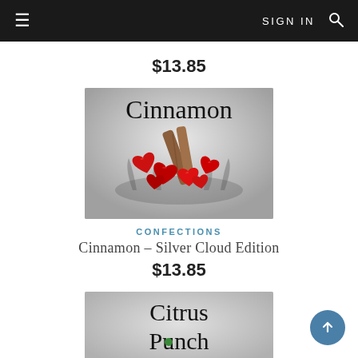≡  SIGN IN 🔍
$13.85
[Figure (illustration): Product image for Cinnamon - Silver Cloud Edition showing red cinnamon candy hearts and cinnamon sticks splashing in water with the word Cinnamon in serif font]
CONFECTIONS
Cinnamon – Silver Cloud Edition
$13.85
[Figure (illustration): Product image for Citrus Punch showing the text Citrus Punch with a green citrus element at the bottom]
↑